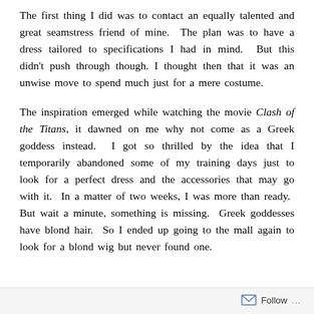The first thing I did was to contact an equally talented and great seamstress friend of mine.  The plan was to have a dress tailored to specifications I had in mind.  But this didn't push through though. I thought then that it was an unwise move to spend much just for a mere costume.
The inspiration emerged while watching the movie Clash of the Titans, it dawned on me why not come as a Greek goddess instead.  I got so thrilled by the idea that I temporarily abandoned some of my training days just to look for a perfect dress and the accessories that may go with it.  In a matter of two weeks, I was more than ready.  But wait a minute, something is missing.  Greek goddesses have blond hair.  So I ended up going to the mall again to look for a blond wig but never found one.
Follow